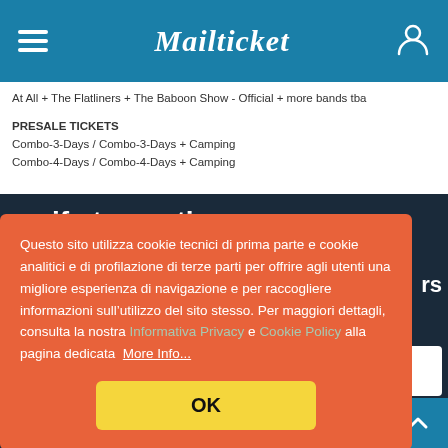Mailticket
At All + The Flatliners + The Baboon Show - Official + more bands tba
PRESALE TICKETS
Combo-3-Days / Combo-3-Days + Camping
Combo-4-Days / Combo-4-Days + Camping
[Figure (screenshot): Cookie consent modal on orange background over a dark blue webpage. Modal text in Italian about cookie usage policy with links to Privacy and Cookie Policy, and an OK button.]
Questo sito utilizza cookie tecnici di prima parte e cookie analitici e di profilazione di terze parti per offrire agli utenti una migliore esperienza di navigazione e per raccogliere informazioni sull’utilizzo del sito stesso. Per maggiori dettagli, consulta la nostra Informativa Privacy e Cookie Policy alla pagina dedicata  More Info...